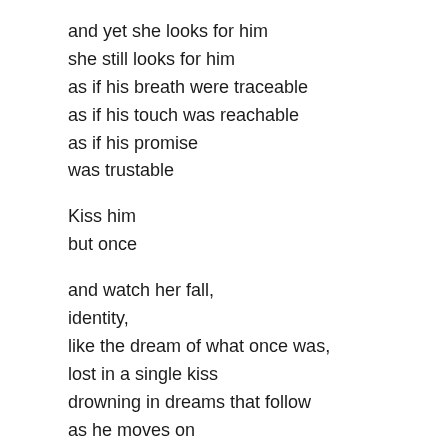and yet she looks for him
she still looks for him
as if his breath were traceable
as if his touch was reachable
as if his promise
was trustable

Kiss him
but once

and watch her fall,
identity,
like the dream of what once was,
lost in a single kiss
drowning in dreams that follow
as he moves on
to other dreams